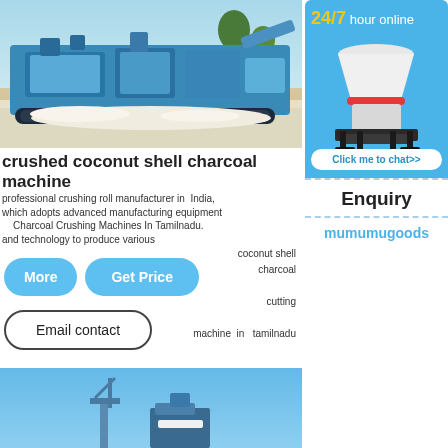[Figure (photo): Blue industrial mobile crushing/screening plant machine outdoors on rocky ground with blue sky and trees in background]
crushed coconut shell charcoal machine
professional crushing roll manufacturer in India, which adopts advanced manufacturing equipment and technology to produce various
Charcoal Crushing Machines In Tamilnadu.
coconut shell charcoal cutting machine in tamilnadu
[Figure (illustration): Blue rounded button labeled More]
[Figure (illustration): Blue rounded button labeled Get Price]
[Figure (illustration): Outlined rounded button labeled Email contact]
[Figure (photo): 24/7 hour online panel with white cone crusher machine image on blue background]
Click me to chat>>
Enquiry
mumumugoods
[Figure (photo): Bottom portion of page showing another crusher machine against blue sky background]